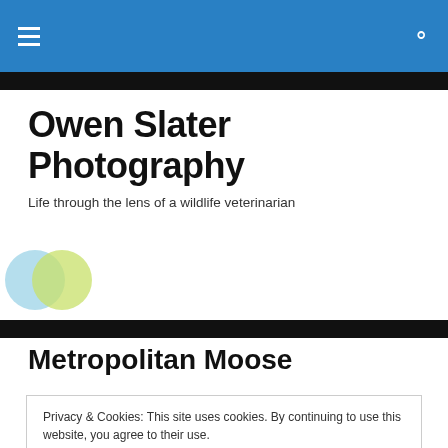Owen Slater Photography – navigation bar with hamburger menu and search icon
Owen Slater Photography
Life through the lens of a wildlife veterinarian
[Figure (logo): Two overlapping circles: light blue on left, yellow-green on right, forming a logo graphic]
Metropolitan Moose
Privacy & Cookies: This site uses cookies. By continuing to use this website, you agree to their use.
To find out more, including how to control cookies, see here: Cookie Policy
Close and accept